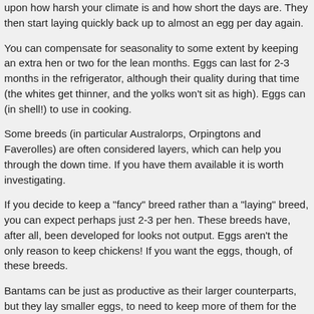upon how harsh your climate is and how short the days are. They then start laying quickly back up to almost an egg per day again.
You can compensate for seasonality to some extent by keeping an extra hen or two for the lean months. Eggs can last for 2-3 months in the refrigerator, although their quality during that time (the whites get thinner, and the yolks won't sit as high). Eggs can (in shell!) to use in cooking.
Some breeds (in particular Australorps, Orpingtons and Faverolles) are often considered layers, which can help you through the down time. If you have them available it is worth investigating.
If you decide to keep a "fancy" breed rather than a "laying" breed, you can expect perhaps just 2-3 per hen. These breeds have, after all, been developed for looks not output. Eggs aren't the only reason to keep chickens! If you want the eggs, though, of these breeds.
Bantams can be just as productive as their larger counterparts, but they lay smaller eggs, to need to keep more of them for the same weight of eggs.
If you don't go through many eggs, and just want a half-dozen or so per week, single chicken. They are social creatures, and don't do well alone. Instead, look at attractive chickens of an heirloom breed – their lower productivity will work for you beautiful and unusual addition to you backyard.
Chickens are generally most productive up to two years old, and their weekly productivity this point. Many people replace their chickens every 2 or 3 years to compensate replace 1/3 to 1/2 of your flock each year, so you keep a range of ages and ma